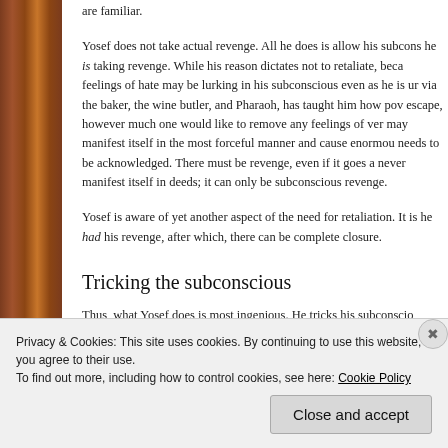are familiar.
Yosef does not take actual revenge. All he does is allow his subconscious to feel as if he is taking revenge. While his reason dictates not to retaliate, because feelings of hate may be lurking in his subconscious even as he is unaware of it, via the baker, the wine butler, and Pharaoh, has taught him how powerful it is to escape, however much one would like to remove any feelings of vengeance, it may manifest itself in the most forceful manner and cause enormous damage. It needs to be acknowledged. There must be revenge, even if it goes against reason, never manifest itself in deeds; it can only be subconscious revenge.
Yosef is aware of yet another aspect of the need for retaliation. It is important that he had his revenge, after which, there can be complete closure.
Tricking the subconscious
Thus, what Yosef does is most ingenious. He tricks his subconscious...
Privacy & Cookies: This site uses cookies. By continuing to use this website, you agree to their use.
To find out more, including how to control cookies, see here: Cookie Policy